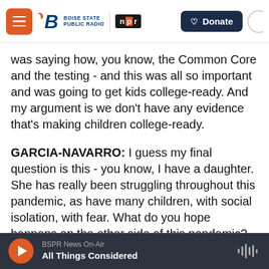Boise State Public Radio | NPR — Donate
was saying how, you know, the Common Core and the testing - and this was all so important and was going to get kids college-ready. And my argument is we don't have any evidence that's making children college-ready.
GARCIA-NAVARRO: I guess my final question is this - you know, I have a daughter. She has really been struggling throughout this pandemic, as have many children, with social isolation, with fear. What do you hope happens on the other side of this pandemic? What do you hope we understand about the school experience for our children?
BSPR News On-Air — All Things Considered